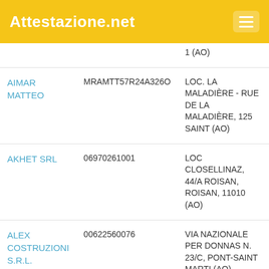Attestazione.net
| Name | Code | Address |
| --- | --- | --- |
|  |  | 1 (AO) |
| AIMAR MATTEO | MRAMTT57R24A326O | LOC. LA MALADIÈRE - RUE DE LA MALADIÈRE, 125 SAINT (AO) |
| AKHET SRL | 06970261001 | LOC CLOSELLINAZ, 44/A ROISAN, ROISAN, 11010 (AO) |
| ALEX COSTRUZIONI S.R.L. | 00622560076 | VIA NAZIONALE PER DONNAS N. 23/C, PONT-SAINT MARTI (AO) |
| ANGELINI COSTRUZIONI | 01097380073 | CORSO LANCIERI DI AOSTA, 4/E |